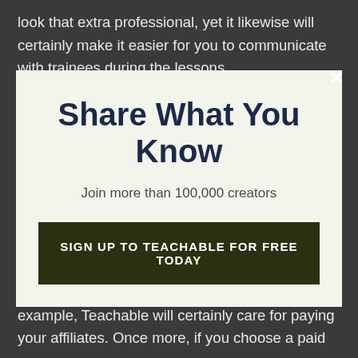look that extra professional, yet it likewise will certainly make it easier for you to communicate with trainees during the lessons.
[Figure (screenshot): Modal dialog popup with light green-tinted background containing 'Share What You Know' heading, subtitle 'Join more than 100,000 creators', a dark CTA button 'SIGN UP TO TEACHABLE FOR FREE TODAY', and a close X button in the top-right corner of the dark background.]
Share What You Know
Join more than 100,000 creators
SIGN UP TO TEACHABLE FOR FREE TODAY
No thanks, I'm not interested!
that may make it much more worth it. As an example, Teachable will certainly care for paying your affiliates. Once more, if you choose a paid